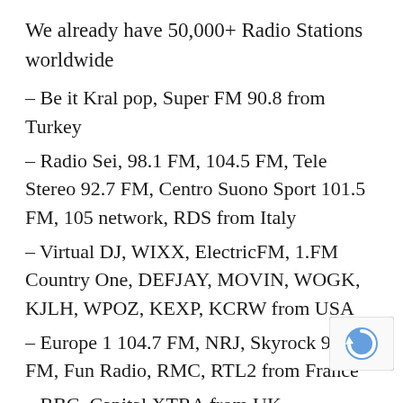We already have 50,000+ Radio Stations worldwide
– Be it Kral pop, Super FM 90.8 from Turkey
– Radio Sei, 98.1 FM, 104.5 FM, Tele Stereo 92.7 FM, Centro Suono Sport 101.5 FM, 105 network, RDS from Italy
– Virtual DJ, WIXX, ElectricFM, 1.FM Country One, DEFJAY, MOVIN, WOGK, KJLH, WPOZ, KEXP, KCRW from USA
– Europe 1 104.7 FM, NRJ, Skyrock 96.0 FM, Fun Radio, RMC, RTL2 from France
– BBC, Capital XTRA from UK
Still you don't find what you are searching
Suggest Feature. Our team will try to add every